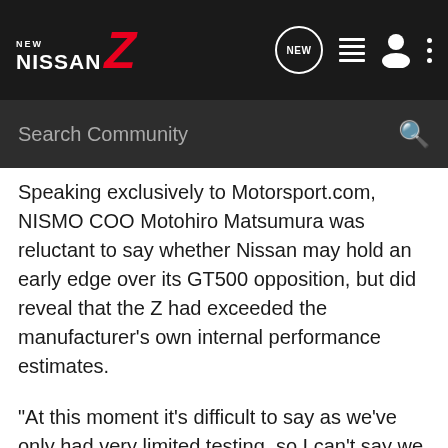[Figure (screenshot): New Nissan Z community forum navigation bar with logo, search bar, and icons]
Speaking exclusively to Motorsport.com, NISMO COO Motohiro Matsumura was reluctant to say whether Nissan may hold an early edge over its GT500 opposition, but did reveal that the Z had exceeded the manufacturer's own internal performance estimates.
“At this moment it’s difficult to say as we’ve only had very limited testing, so I can’t say we are obviously at an advantage or disadvantage,” Matsumura said. “But one of the good points is that the laptime we recorded is better than we estimated.
“I can’t speak about our [relative] competitiveness against – including but not exclusively of the electric – and of the –